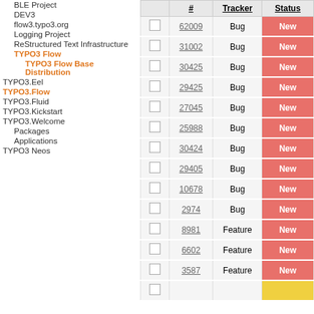BLE Project
DEV3
flow3.typo3.org
Logging Project
ReStructured Text Infrastructure
TYPO3 Flow
TYPO3 Flow Base Distribution
TYPO3.Eel
TYPO3.Flow
TYPO3.Fluid
TYPO3.Kickstart
TYPO3.Welcome
Packages
Applications
TYPO3 Neos
|  | # | Tracker | Status |
| --- | --- | --- | --- |
| ☐ | 62009 | Bug | New |
| ☐ | 31002 | Bug | New |
| ☐ | 30425 | Bug | New |
| ☐ | 29425 | Bug | New |
| ☐ | 27045 | Bug | New |
| ☐ | 25988 | Bug | New |
| ☐ | 30424 | Bug | New |
| ☐ | 29405 | Bug | New |
| ☐ | 10678 | Bug | New |
| ☐ | 2974 | Bug | New |
| ☐ | 8981 | Feature | New |
| ☐ | 6602 | Feature | New |
| ☐ | 3587 | Feature | New |
| ☐ |  |  |  |